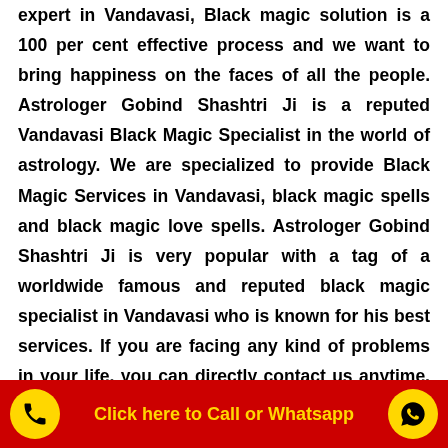Astrologer Gobind Shashtri Ji also black magic removal expert in Vandavasi, Black magic solution is a 100 per cent effective process and we want to bring happiness on the faces of all the people. Astrologer Gobind Shashtri Ji is a reputed Vandavasi Black Magic Specialist in the world of astrology. We are specialized to provide Black Magic Services in Vandavasi, black magic spells and black magic love spells. Astrologer Gobind Shashtri Ji is very popular with a tag of a worldwide famous and reputed black magic specialist in Vandavasi who is known for his best services. If you are facing any kind of problems in your life, you can directly contact us anytime, anywhere without wasting your precious time.
Click here to Call or Whatsapp